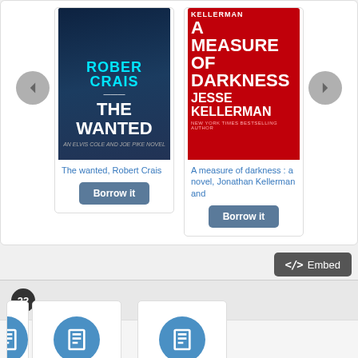[Figure (screenshot): Carousel showing two book covers: 'The Wanted' by Robert Crais and 'A Measure of Darkness' by Jesse Kellerman, each with a 'Borrow it' button. Navigation arrows on sides.]
The wanted, Robert Crais
A measure of darkness : a novel, Jonathan Kellerman and
Embed
22 Items in the Series ||| Joe Leaphorn and Jim Chee mysteries
[Figure (screenshot): Bottom of series cards row showing partial book card on left, two book cards with blue circle book icons in center and right.]